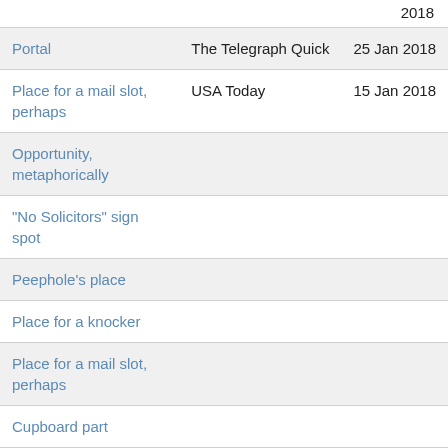| Clue | Source | Date |
| --- | --- | --- |
|  |  | 2018 |
| Portal | The Telegraph Quick | 25 Jan 2018 |
| Place for a mail slot, perhaps | USA Today | 15 Jan 2018 |
| Opportunity, metaphorically |  |  |
| "No Solicitors" sign spot |  |  |
| Peephole's place |  |  |
| Place for a knocker |  |  |
| Place for a mail slot, perhaps |  |  |
| Cupboard part |  |  |
|  |  |  |